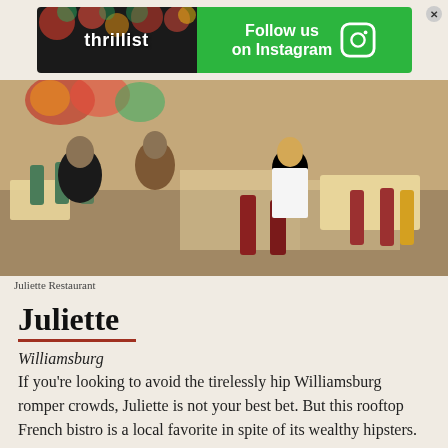[Figure (infographic): Thrillist advertisement banner with Thrillist logo on left over floral background and green 'Follow us on Instagram' panel on right with Instagram camera icon and X close button]
[Figure (photo): Outdoor patio dining scene at Juliette Restaurant in Williamsburg showing patrons seated at tables with colorful bistro chairs in bright sunlight]
Juliette Restaurant
Juliette
Williamsburg
If you're looking to avoid the tirelessly hip Williamsburg romper crowds, Juliette is not your best bet. But this rooftop French bistro is a local favorite in spite of its wealthy hipsters. The daily selection of French regional and local cheeses is superb; the crispy duck confit is as succulent and